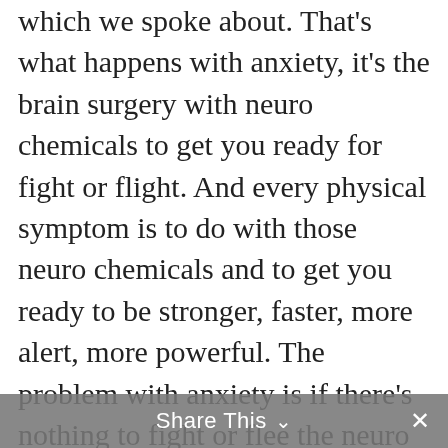which we spoke about. That's what happens with anxiety, it's the brain surgery with neuro chemicals to get you ready for fight or flight. And every physical symptom is to do with those neuro chemicals and to get you ready to be stronger, faster, more alert, more powerful. The problem with anxiety is if there's nothing to fight or flee the neuro chemicals build out, and that's why anxiety feels awful. And, and it can feel like there's something awful about to happen. So that feeds into anxious thoughts, then that feeds back into anxious feelings. And it's a bit of a loop. So to break the loop, and I said to her, you need to breathe. And what that does is that reverses everything it's touching and starts to neutralize everything. And it brings
Share This ∨  ✕